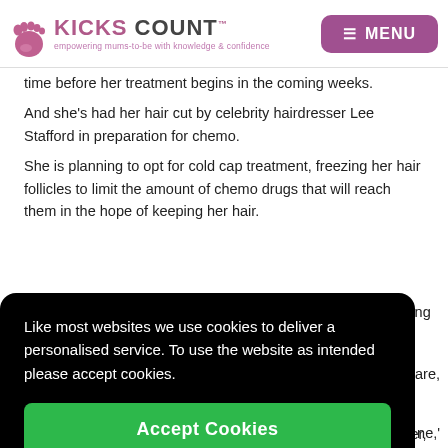KICKS COUNT™ — empowering mums-to-be with knowledge & confidence | MENU
time before her treatment begins in the coming weeks.
And she's had her hair cut by celebrity hairdresser Lee Stafford in preparation for chemo.
She is planning to opt for cold cap treatment, freezing her hair follicles to limit the amount of chemo drugs that will reach them in the hope of keeping her hair.
Like most websites we use cookies to deliver a personalised service. To use the website as intended please accept cookies.
Accept Cookies
'I went in feeling positive but every mention of the word cancer,